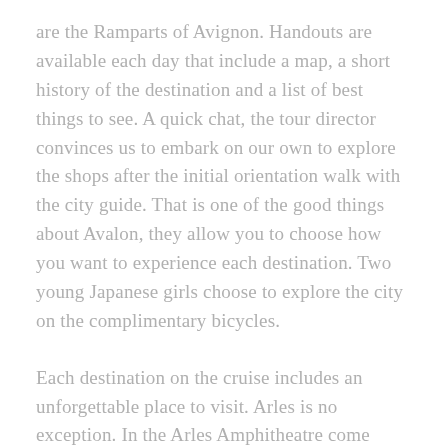are the Ramparts of Avignon. Handouts are available each day that include a map, a short history of the destination and a list of best things to see. A quick chat, the tour director convinces us to embark on our own to explore the shops after the initial orientation walk with the city guide. That is one of the good things about Avalon, they allow you to choose how you want to experience each destination. Two young Japanese girls choose to explore the city on the complimentary bicycles.
Each destination on the cruise includes an unforgettable place to visit. Arles is no exception. In the Arles Amphitheatre come bullring we watch school children re-enacting a gladiatorial battle of Roman times with costumes tutors. Our guide provides our own Van Gough Tour that includes a visit to the hospital where he spent time in during a period of mental illness that proved to be